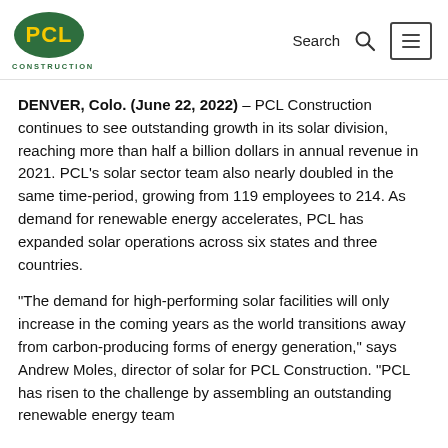PCL Construction logo, Search, Menu
DENVER, Colo. (June 22, 2022) – PCL Construction continues to see outstanding growth in its solar division, reaching more than half a billion dollars in annual revenue in 2021. PCL's solar sector team also nearly doubled in the same time-period, growing from 119 employees to 214. As demand for renewable energy accelerates, PCL has expanded solar operations across six states and three countries.
“The demand for high-performing solar facilities will only increase in the coming years as the world transitions away from carbon-producing forms of energy generation,” says Andrew Moles, director of solar for PCL Construction. “PCL has risen to the challenge by assembling an outstanding renewable energy team